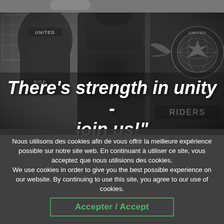[Figure (photo): Black and white photograph of motorcycle club members seen from behind, wearing leather jackets with club patches including 'UNITED', 'RIDERS', and wing emblems with globe design]
There's strength in unity - join us!"
Nous utilisons des cookies afin de vous offrir la meilleure expérience possible sur notre site web. En continuant à utiliser ce site, vous acceptez que nous utilisions des cookies. We use cookies in order to give you the best possible experience on our website. By continuing to use this site, you agree to our use of cookies.
Accepter / Accept